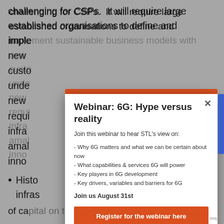challenging for CSPs. It will require large established organisations to define and implement sustainable business models with new customer approaches, new ways of understanding customers and developing new revenue streams. It will also require infrastructure investment and potentially amalgamation to drive efficiencies and innovation.
Historically, CSPs have deployed significant infrastructure investments and have spent a lot of capital on things such as spectrum purchases,
[Figure (other): Modal popup overlay for a webinar promotion: 'Webinar: 6G: Hype versus reality'. Contains title, description 'Join this webinar to hear STL's view on:', bullet points about 6G topics, date 'Join us August 31st', and a 'Register for the webinar here' orange button. Modal has an orange top bar and a close X button.]